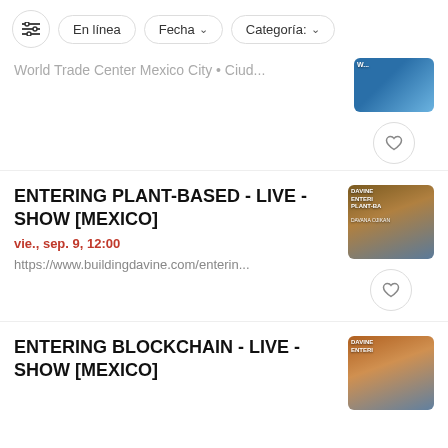[Figure (screenshot): Filter bar with icons for settings, En línea, Fecha dropdown, Categoría dropdown]
World Trade Center Mexico City • Ciud...
ENTERING PLANT-BASED - LIVE - SHOW [MEXICO]
vie., sep. 9, 12:00
https://www.buildingdavine.com/enterin...
ENTERING BLOCKCHAIN - LIVE - SHOW [MEXICO]